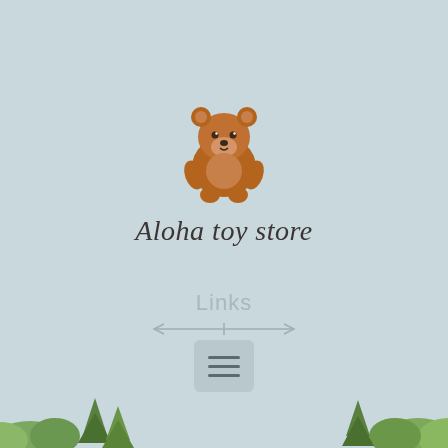[Figure (logo): Cartoon brown bear sitting, used as toy store logo illustration]
Aloha toy store
Links
[Figure (illustration): Decorative horizontal arrow divider line]
[Figure (illustration): Hamburger menu button icon (three horizontal lines) on a rounded rectangle background]
[Figure (illustration): Bottom scenery with green trees and bushes on light blue-grey background]